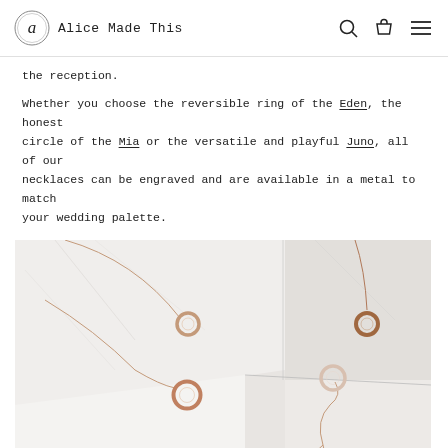Alice Made This
the reception.
Whether you choose the reversible ring of the Eden, the honest circle of the Mia or the versatile and playful Juno, all of our necklaces can be engraved and are available in a metal to match your wedding palette.
[Figure (photo): Photograph of rose gold circle/ring necklaces displayed on white marble surfaces, showing three necklaces in different sizes arranged artfully.]